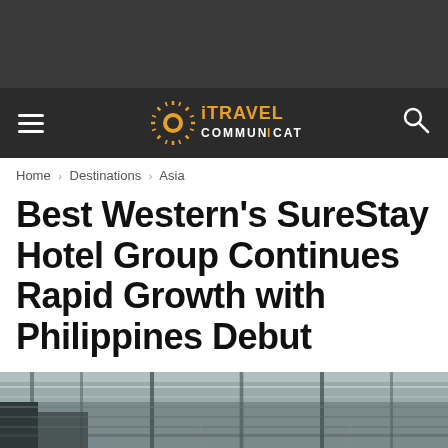iTRAVEL COMMUNICATION
Home › Destinations › Asia
Best Western's SureStay Hotel Group Continues Rapid Growth with Philippines Debut
[Figure (photo): Interior photograph of a modern hotel lobby or atrium with glass ceiling and architectural elements, partially visible at bottom of page]